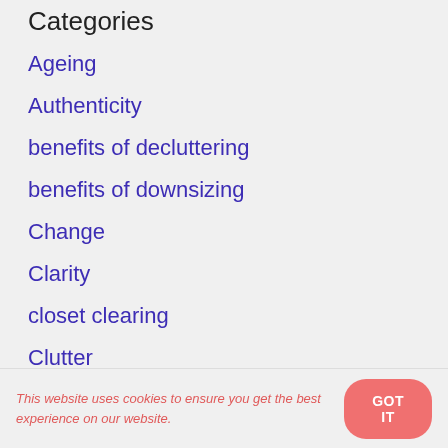Categories
Ageing
Authenticity
benefits of decluttering
benefits of downsizing
Change
Clarity
closet clearing
Clutter
This website uses cookies to ensure you get the best experience on our website.
GOT IT